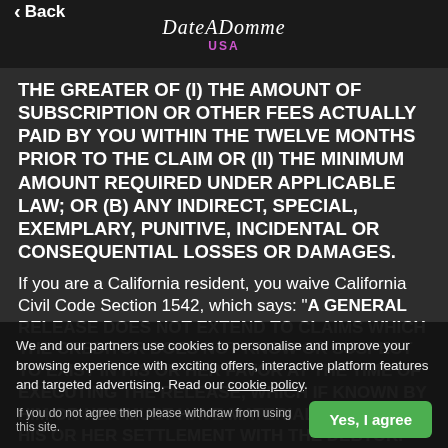Back | DateADomme USA
THE GREATER OF (I) THE AMOUNT OF SUBSCRIPTION OR OTHER FEES ACTUALLY PAID BY YOU WITHIN THE TWELVE MONTHS PRIOR TO THE CLAIM OR (II) THE MINIMUM AMOUNT REQUIRED UNDER APPLICABLE LAW; OR (B) ANY INDIRECT, SPECIAL, EXEMPLARY, PUNITIVE, INCIDENTAL OR CONSEQUENTIAL LOSSES OR DAMAGES.
If you are a California resident, you waive California Civil Code Section 1542, which says: "A GENERAL RELEASE DOES NOT EXTEND TO CLAIMS WHICH THE CREDITOR DOES NOT KNOW OR SUSPECT TO EXIST IN HIS OR HER FAVOR AT THE TIME OF EXECUTING THE RELEASE, WHICH IF KNOWN BY HIM OR HER MUST HAVE MATERIALLY AFFECTED HIS OR HER SETTLEMENT WITH THE DEBTOR."
"LIMITATIONS OF LIABILITY" IS AN AGREED ALLOCATION OF RISK BETWEEN YOU AND US. YOU ACKNOWLEDGE THAT ABSENT YOUR AGREEMENT TO THESE "LIMITATIONS
We and our partners use cookies to personalise and improve your browsing experience with exciting offers, interactive platform features and targeted advertising. Read our cookie policy.
If you do not agree then please withdraw from using this site.